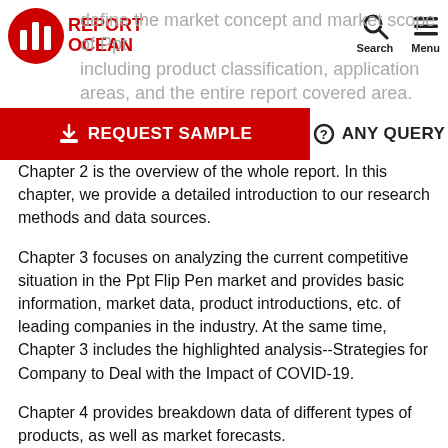Report Ocean — define the market concept and market scope of Ppt including product classification, application areas, and the entire report covered area.
[Figure (other): Red call-to-action banner with REQUEST SAMPLE and ANY QUERY buttons]
Chapter 2 is the overview of the whole report. In this chapter, we provide a detailed introduction to our research methods and data sources.
Chapter 3 focuses on analyzing the current competitive situation in the Ppt Flip Pen market and provides basic information, market data, product introductions, etc. of leading companies in the industry. At the same time, Chapter 3 includes the highlighted analysis--Strategies for Company to Deal with the Impact of COVID-19.
Chapter 4 provides breakdown data of different types of products, as well as market forecasts.
Different application fields have different usage and...